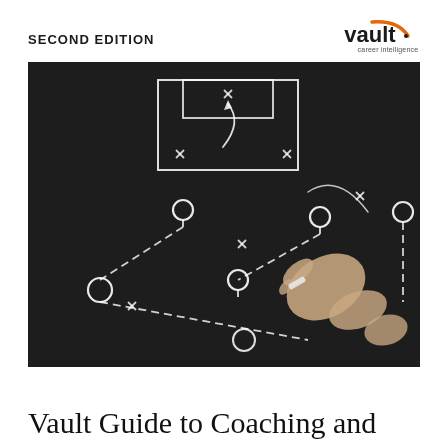SECOND EDITION
[Figure (logo): Vault career intelligence logo with orange arc]
[Figure (photo): A hand drawing a sports play diagram with chalk on a black chalkboard, showing circles, X marks, arrows and lines representing player positions and movements]
Vault Guide to Coaching and Sports Entertainment Careers